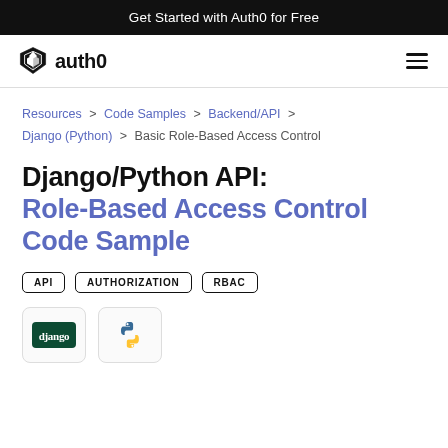Get Started with Auth0 for Free
[Figure (logo): Auth0 logo with shield icon and 'auth0' text, plus hamburger menu icon on the right]
Resources > Code Samples > Backend/API > Django (Python) > Basic Role-Based Access Control
Django/Python API: Role-Based Access Control Code Sample
API
AUTHORIZATION
RBAC
[Figure (logo): Django framework logo badge (dark green with 'django' text) and Python logo icon]